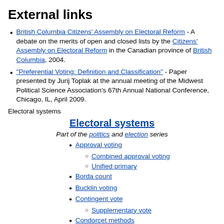External links
British Columbia Citizens' Assembly on Electoral Reform - A debate on the merits of open and closed lists by the Citizens' Assembly on Electoral Reform in the Canadian province of British Columbia, 2004.
"Preferential Voting: Definition and Classification" - Paper presented by Jurij Toplak at the annual meeting of the Midwest Political Science Association's 67th Annual National Conference, Chicago, IL, April 2009.
Electoral systems
Electoral systems
Part of the politics and election series
Approval voting
Combined approval voting
Unified primary
Borda count
Bucklin voting
Contingent vote
Supplementary vote
Condorcet methods
Copeland's method